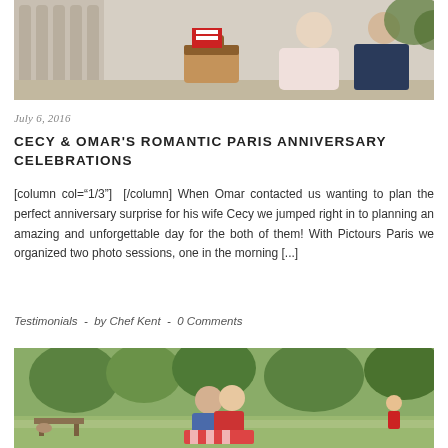[Figure (photo): A couple sitting on steps with a picnic basket in Paris, architectural balustrade visible on the left]
July 6, 2016
CECY & OMAR'S ROMANTIC PARIS ANNIVERSARY CELEBRATIONS
[column col="1/3"]  [/column] When Omar contacted us wanting to plan the perfect anniversary surprise for his wife Cecy we jumped right in to planning an amazing and unforgettable day for the both of them! With Pictours Paris we organized two photo sessions, one in the morning [...]
Testimonials  -  by Chef Kent  -  0 Comments
[Figure (photo): A couple kissing in a park in Paris, green trees in background, man in blue shirt and woman in red dress]